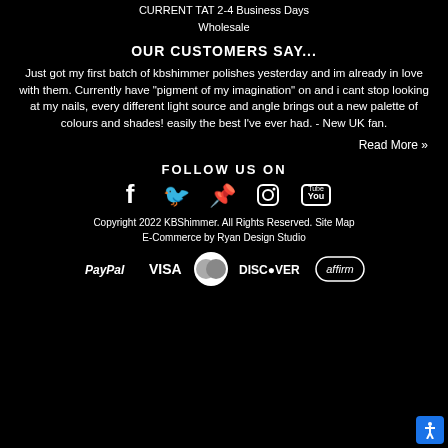CURRENT TAT 2-4 Business Days
Wholesale
OUR CUSTOMERS SAY...
Just got my first batch of kbshimmer polishes yesterday and im already in love with them. Currently have "pigment of my imagination" on and i cant stop looking at my nails, every different light source and angle brings out a new palette of colours and shades! easily the best I've ever had. - New UK fan.
Read More »
FOLLOW US ON
[Figure (infographic): Social media icons: Facebook, Twitter, Pinterest, Instagram, YouTube]
Copyright 2022 KBShimmer. All Rights Reserved. Site Map
E-Commerce by Ryan Design Studio
[Figure (infographic): Payment method logos: PayPal, VISA, MasterCard, DISCOVER, affirm]